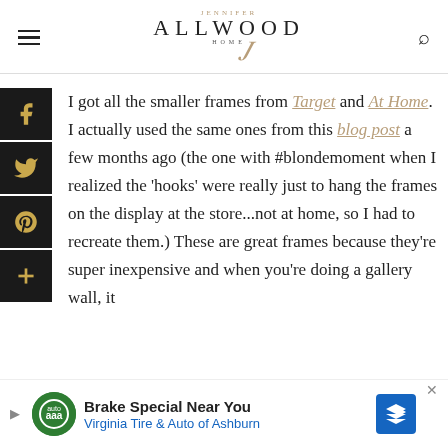Jennifer Allwood Home — navigation header
[Figure (logo): Jennifer Allwood Home logo with hamburger menu and search icon]
I got all the smaller frames from Target and At Home. I actually used the same ones from this blog post a few months ago (the one with #blondemoment when I realized the 'hooks' were really just to hang the frames on the display at the store...not at home, so I had to recreate them.) These are great frames because they're super inexpensive and when you're doing a gallery wall, it can give it a really professional
[Figure (infographic): Ad banner: Brake Special Near You — Virginia Tire & Auto of Ashburn]